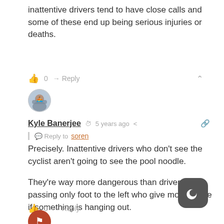inattentive drivers tend to have close calls and some of these end up being serious injuries or deaths.
👍 0  → Reply  ∧
[Figure (photo): Circular user avatar photo showing a person kayaking]
Kyle Banerjee  🕐 5 years ago  <  🔗
Reply to soren
Precisely. Inattentive drivers who don't see the cyclist aren't going to see the pool noodle.

They're way more dangerous than drivers ones passing only foot to the left who give more space if something is hanging out.
👍 0  → Reply  ∧
[Figure (logo): Dark mode / night mode toggle button icon (crescent moon)]
[Figure (photo): Circular user avatar partially visible at bottom]